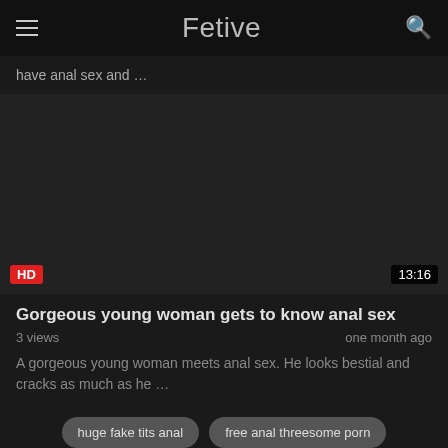Fetive
have anal sex and …
[Figure (screenshot): Dark video thumbnail area with HD badge and 13:16 duration label]
Gorgeous young woman gets to know anal sex
3 views  one month ago
A gorgeous young woman meets anal sex. He looks bestial and cracks as much as he …
huge fake tits anal
free anal threesome porn
pawg anal gifs
deauxma anal
zoe bloom anal